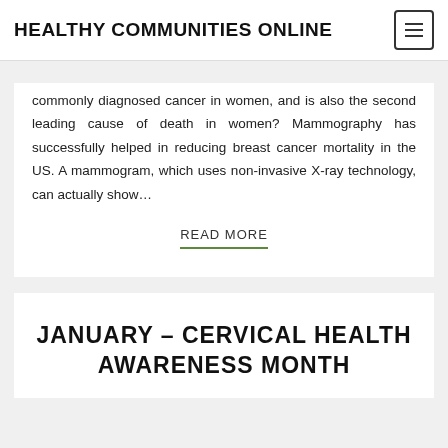HEALTHY COMMUNITIES ONLINE
commonly diagnosed cancer in women, and is also the second leading cause of death in women? Mammography has successfully helped in reducing breast cancer mortality in the US. A mammogram, which uses non-invasive X-ray technology, can actually show…
READ MORE
JANUARY – CERVICAL HEALTH AWARENESS MONTH